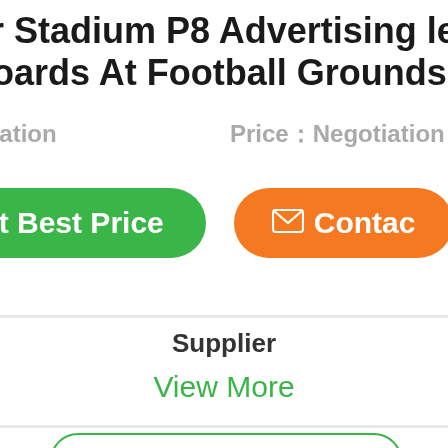er Stadium P8 Advertising led sc
boards At Football Grounds
otiation    Price：Negotiation
et Best Price   Contact
Supplier
View More